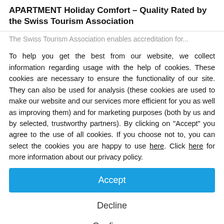APARTMENT Holiday Comfort – Quality Rated by the Swiss Tourism Association
To help you get the best from our website, we collect information regarding usage with the help of cookies. These cookies are necessary to ensure the functionality of our site. They can also be used for analysis (these cookies are used to make our website and our services more efficient for you as well as improving them) and for marketing purposes (both by us and by selected, trustworthy partners). By clicking on "Accept" you agree to the use of all cookies. If you choose not to, you can select the cookies you are happy to use here. Click here for more information about our privacy policy.
Accept
Decline
Configure